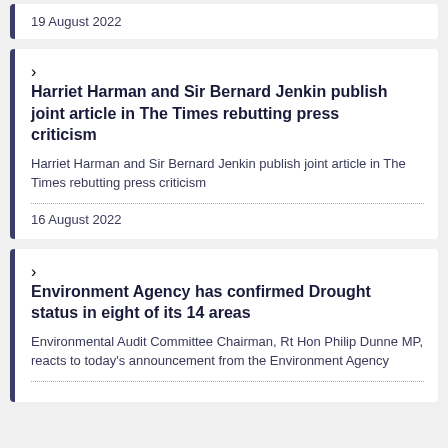19 August 2022
Harriet Harman and Sir Bernard Jenkin publish joint article in The Times rebutting press criticism
Harriet Harman and Sir Bernard Jenkin publish joint article in The Times rebutting press criticism
16 August 2022
Environment Agency has confirmed Drought status in eight of its 14 areas
Environmental Audit Committee Chairman, Rt Hon Philip Dunne MP, reacts to today's announcement from the Environment Agency